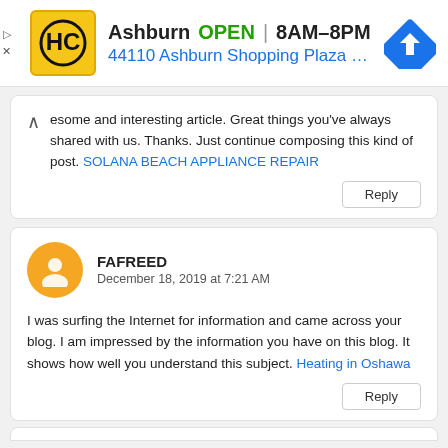[Figure (infographic): Google Ads banner showing HC logo, Ashburn location, OPEN 8AM-8PM, address 44110 Ashburn Shopping Plaza 190 A..., and a blue navigation arrow icon]
...esome and interesting article. Great things you've always shared with us. Thanks. Just continue composing this kind of post. SOLANA BEACH APPLIANCE REPAIR
Reply
FAFREED
December 18, 2019 at 7:21 AM
I was surfing the Internet for information and came across your blog. I am impressed by the information you have on this blog. It shows how well you understand this subject. Heating in Oshawa
Reply